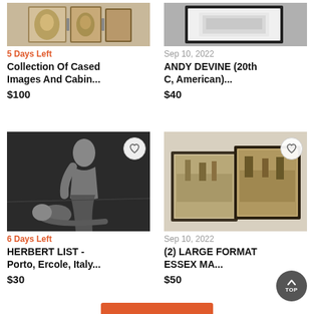[Figure (photo): Collection of cased images and cabinet photos - antique photo frames]
5 Days Left
Collection Of Cased Images And Cabin...
$100
[Figure (photo): ANDY DEVINE artwork - framed piece]
Sep 10, 2022
ANDY DEVINE (20th C, American)...
$40
[Figure (photo): HERBERT LIST - Porto, Ercole, Italy - black and white photograph of male figure]
6 Days Left
HERBERT LIST - Porto, Ercole, Italy...
$30
[Figure (photo): (2) Large format Essex MA photographs in dark mats]
Sep 10, 2022
(2) LARGE FORMAT ESSEX MA...
$50